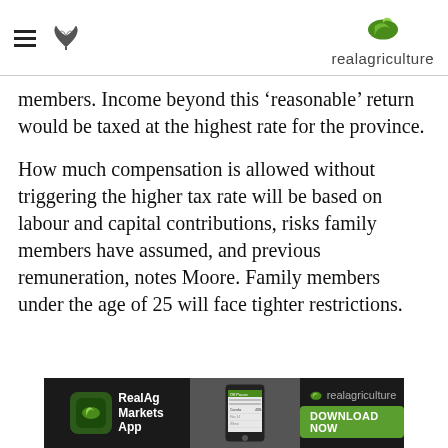realagriculture
members. Income beyond this ‘reasonable’ return would be taxed at the highest rate for the province.
How much compensation is allowed without triggering the higher tax rate will be based on labour and capital contributions, risks family members have assumed, and previous remuneration, notes Moore. Family members under the age of 25 will face tighter restrictions.
[Figure (other): RealAg Markets App advertisement banner with app screenshot and download button]